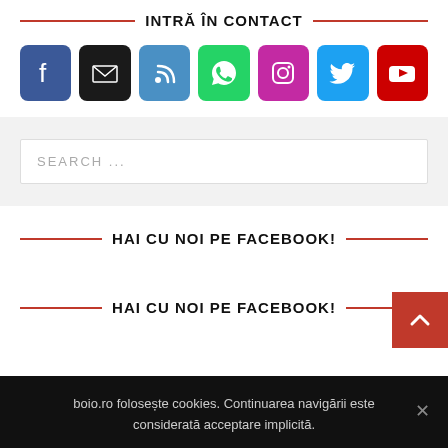INTRĂ ÎN CONTACT
[Figure (infographic): Row of 7 social media/contact icon buttons: Facebook (blue), Email (black), RSS (blue), WhatsApp (green), Instagram (pink), Twitter (light blue), YouTube (red)]
[Figure (screenshot): Search input field with placeholder text SEARCH ...]
HAI CU NOI PE FACEBOOK!
HAI CU NOI PE FACEBOOK!
boio.ro folosește cookies. Continuarea navigării este considerată acceptare implicită.